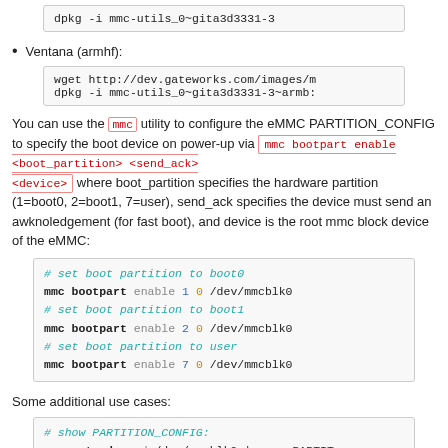dpkg -i mmc-utils_0~gita3d3331-3
Ventana (armhf):
wget http://dev.gateworks.com/images/m
dpkg -i mmc-utils_0~gita3d3331-3~armb:
You can use the mmc utility to configure the eMMC PARTITION_CONFIG to specify the boot device on power-up via mmc bootpart enable <boot_partition> <send_ack> <device> where boot_partition specifies the hardware partition (1=boot0, 2=boot1, 7=user), send_ack specifies the device must send an awknoledgement (for fast boot), and device is the root mmc block device of the eMMC:
# set boot partition to boot0
mmc bootpart enable 1 0 /dev/mmcblk0
# set boot partition to boot1
mmc bootpart enable 2 0 /dev/mmcblk0
# set boot partition to user
mmc bootpart enable 7 0 /dev/mmcblk0
Some additional use cases:
# show PARTITION_CONFIG:
mmc extcsd read /dev/mmcblk0 | grep PARTIT:
# show BUS CONFIG:
mmc extcsd read /dev/mmcblk0 | grep BOOT_BU
# disable boot partition